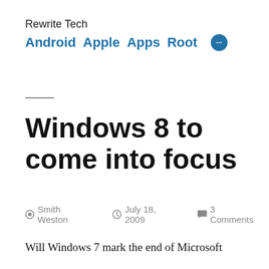Rewrite Tech
Android  Apple  Apps  Root  •••
Windows 8 to come into focus
Smith Weston   July 18, 2009   3 Comments
Will Windows 7 mark the end of Microsoft